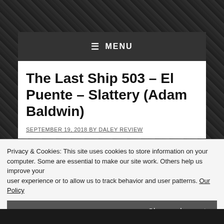≡ MENU
The Last Ship 503 – El Puente – Slattery (Adam Baldwin)
SEPTEMBER 19, 2018 BY DALEY REVIEW
Privacy & Cookies: This site uses cookies to store information on your computer. Some are essential to make our site work. Others help us improve your user experience or to allow us to track behavior and user patterns. Our Policy
Close and accept